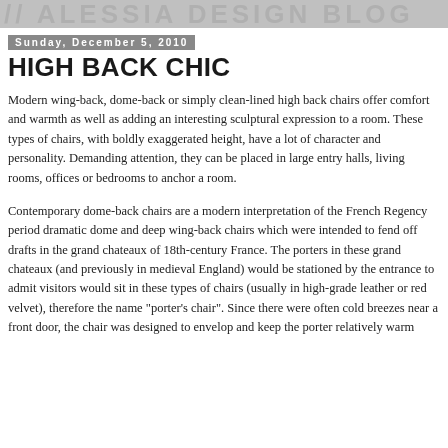// ALESSIA DESIGN BLOG
Sunday, December 5, 2010
HIGH BACK CHIC
Modern wing-back, dome-back or simply clean-lined high back chairs offer comfort and warmth as well as adding an interesting sculptural expression to a room. These types of chairs, with boldly exaggerated height, have a lot of character and personality. Demanding attention, they can be placed in large entry halls, living rooms, offices or bedrooms to anchor a room.
Contemporary dome-back chairs are a modern interpretation of the French Regency period dramatic dome and deep wing-back chairs which were intended to fend off drafts in the grand chateaux of 18th-century France. The porters in these grand chateaux (and previously in medieval England) would be stationed by the entrance to admit visitors would sit in these types of chairs (usually in high-grade leather or red velvet), therefore the name "porter's chair". Since there were often cold breezes near a front door, the chair was designed to envelop and keep the porter relatively warm